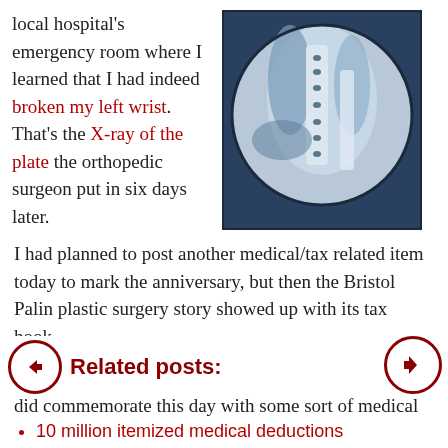local hospital's emergency room where I learned that I had indeed broken my left wrist. That's the X-ray of the plate the orthopedic surgeon put in six days later.
[Figure (photo): X-ray image showing a metal orthopedic plate surgically implanted in a wrist, circular framing on dark background]
I had planned to post another medical/tax related item today to mark the anniversary, but then the Bristol Palin plastic surgery story showed up with its tax hook.
I guess that the blogging gods wanted to make sure I did commemorate this day with some sort of medical post.
Related posts:
10 million itemized medical deductions